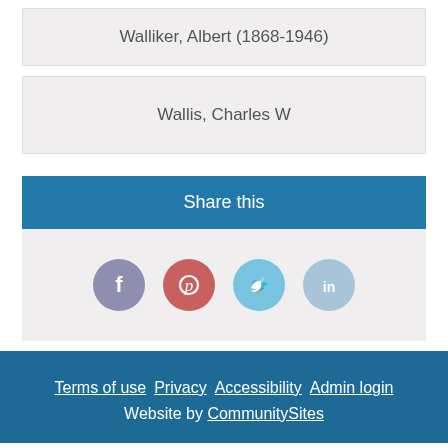Walliker, Albert (1868-1946)
Wallis, Charles W
Share this
[Figure (infographic): Social media share icons: Facebook (purple-blue circle), Pinterest (red circle), Twitter (light blue circle), LinkedIn (light blue circle)]
Terms of use  Privacy  Accessibility  Admin login  Website by CommunitySites